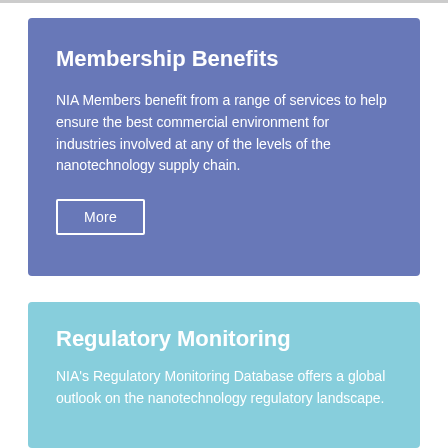Membership Benefits
NIA Members benefit from a range of services to help ensure the best commercial environment for industries involved at any of the levels of the nanotechnology supply chain.
More
Regulatory Monitoring
NIA's Regulatory Monitoring Database offers a global outlook on the nanotechnology regulatory landscape.